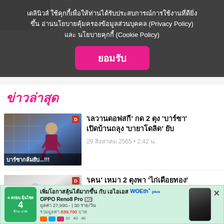เดลินิวส์ ใช้คุกกี้เพื่อให้ท่านได้รับประสบการณ์การใช้งานที่ดียิ่งขึ้น อ่านนโยบายคุ้มครองข้อมูลส่วนบุคคล (Privacy Policy) และ นโยบายคุกกี้ (Cookie Policy)
ยอมรับ
ข่าวล่าสุด
'เลวานดอฟสกี' กด 2 ตุง 'บาร์ซา' เปิดบ้านถลุง 'บายาโดลิด' ยับ
29 สิงหาคม 2565 • 2:42 น.
'เคน' เหมา 2 ตุงพา 'ไก่เดือยทอง' บุกจิก 'เจ้าป่า' คารัง
29 สิงหาคม 2565 • 0:29 น.
[Figure (photo): Advertisement banner for AIS WOW Plus with OPPO Reno8 Pro 5G, price 27,990 baht]